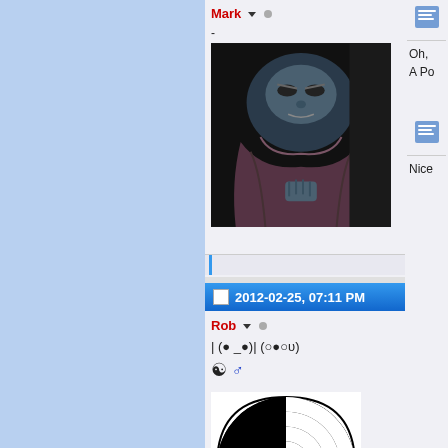Mark ▾ ○
-
[Figure (illustration): Dark illustrated art showing a hunched figure wrapped in a blanket or cloak with an intense expression]
2012-02-25, 07:11 PM
Rob ▾ ○
| (● _●)| (○●○υ)
☯ ♂
[Figure (illustration): Black and white spiral optical illusion image]
Oh,
A Po
Nice